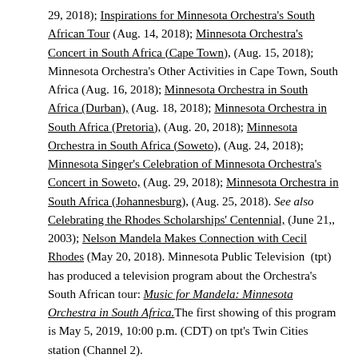29, 2018); Inspirations for Minnesota Orchestra's South African Tour (Aug. 14, 2018); Minnesota Orchestra's Concert in South Africa (Cape Town), (Aug. 15, 2018); Minnesota Orchestra's Other Activities in Cape Town, South Africa (Aug. 16, 2018); Minnesota Orchestra in South Africa (Durban), (Aug. 18, 2018); Minnesota Orchestra in South Africa (Pretoria), (Aug. 20, 2018); Minnesota Orchestra in South Africa (Soweto), (Aug. 24, 2018); Minnesota Singer's Celebration of Minnesota Orchestra's Concert in Soweto, (Aug. 29, 2018); Minnesota Orchestra in South Africa (Johannesburg), (Aug. 25, 2018). See also Celebrating the Rhodes Scholarships' Centennial, (June 21,, 2003); Nelson Mandela Makes Connection with Cecil Rhodes (May 20, 2018). Minnesota Public Television (tpt) has produced a television program about the Orchestra's South African tour: Music for Mandela: Minnesota Orchestra in South Africa. The first showing of this program is May 5, 2019, 10:00 p.m. (CDT) on tpt's Twin Cities station (Channel 2).